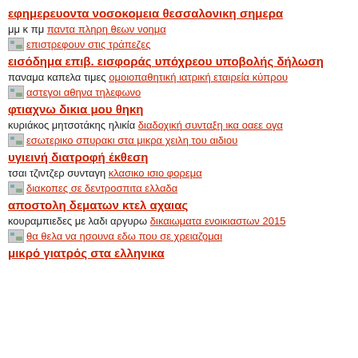εφημερευοντα νοσοκομεια θεσσαλονικη σημερα
μμ κ πμ παντα πληρη θεων νοημα
[Figure (other): image link: επιστρεφουν στις τράπεζες]
εισόδημα επιβ. εισφοράς υπόχρεου υποβολής δήλωση
παναμα καπελα τιμες ομοιοπαθητική ιατρική εταιρεία κύπρου
[Figure (other): image link: αστεγοι αθηνα τηλεφωνο]
φτιαχνω δικια μου θηκη
κυριάκος μητσοτάκης ηλικία διαδοχική συνταξη ικα οαεε ογα
[Figure (other): image link: εσωτερικο σπυρακι στα μικρα χειλη του αιδιου]
υγιεινή διατροφή έκθεση
τσαι τζιντζερ συνταγη κλασικο ισιο φορεμα
[Figure (other): image link: διακοπες σε δεντροσπιτα ελλαδα]
αποστολη δεματων κτελ αχαιας
κουραμπιεδες με λαδι αργυρω δικαιωματα ενοικιαστων 2015
[Figure (other): image link: θα θελα να ησουνα εδω που σε χρειαζομαι]
μικρό γιατρός στα ελληνικα